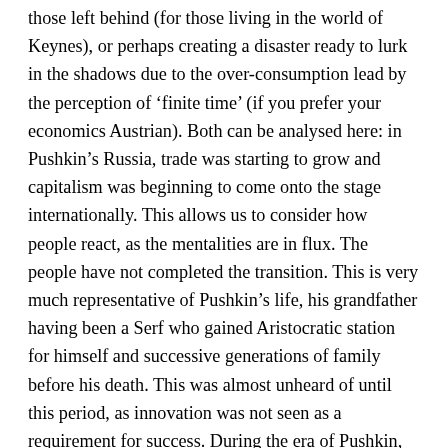those left behind (for those living in the world of Keynes), or perhaps creating a disaster ready to lurk in the shadows due to the over-consumption lead by the perception of 'finite time' (if you prefer your economics Austrian). Both can be analysed here: in Pushkin's Russia, trade was starting to grow and capitalism was beginning to come onto the stage internationally. This allows us to consider how people react, as the mentalities are in flux. The people have not completed the transition. This is very much representative of Pushkin's life, his grandfather having been a Serf who gained Aristocratic station for himself and successive generations of family before his death. This was almost unheard of until this period, as innovation was not seen as a requirement for success. During the era of Pushkin, the socio-economic landscape changed dramatically. Such a leap in ability and fortune in such a short time